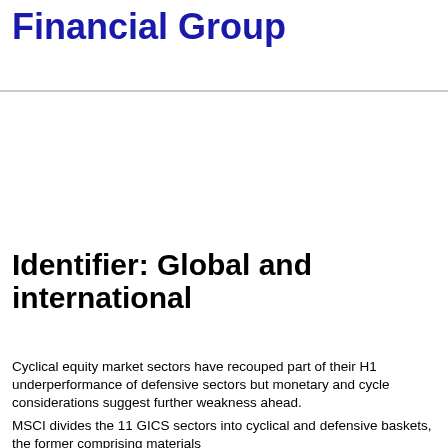Financial Group
Identifier: Global and international
Cyclical equity market sectors have recouped part of their H1 underperformance of defensive sectors but monetary and cycle considerations suggest further weakness ahead.
MSCI divides the 11 GICS sectors into cyclical and defensive baskets, the former comprising materials